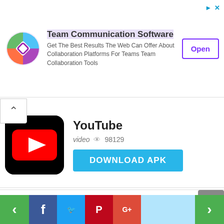[Figure (screenshot): Advertisement banner for Team Communication Software with colorful logo, text, and Open button]
[Figure (screenshot): YouTube app icon - red rounded square with white play button on black background]
YouTube
video   98129
DOWNLOAD APK
[Figure (screenshot): DU Recorder app icon - orange rounded square with white camera/record icon]
DU Recorder: Screen Recorder
du recorder   95430
DOWNLOAD APK
HD Camera
photography